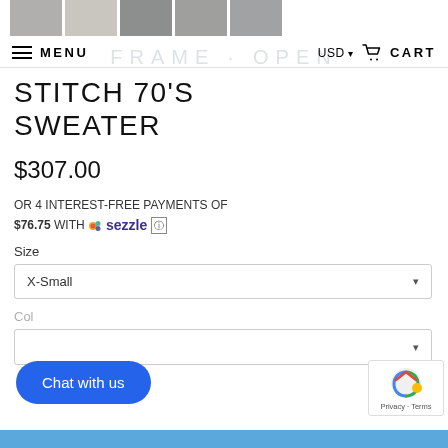[Figure (photo): Row of 5 small clothing/fashion thumbnail images at top of page]
MENU  |  USD  CART
STITCH 70'S SWEATER
$307.00
OR 4 INTEREST-FREE PAYMENTS OF $76.75 WITH sezzle
Size
X-Small
[Figure (other): Chat with us button (blue pill-shaped button)]
[Figure (other): reCAPTCHA Privacy badge]